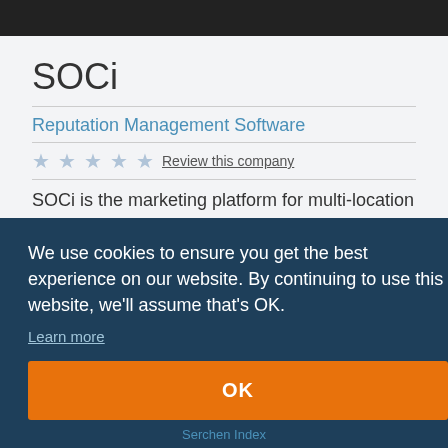[Figure (screenshot): Black top navigation bar of a website]
SOCi
Reputation Management Software
★★★★★ Review this company
SOCi is the marketing platform for multi-location brands. We use cookies to ensure you get the best experience on our website. By continuing to use this website, we'll assume that's OK. Learn more
OK
Serchen Index